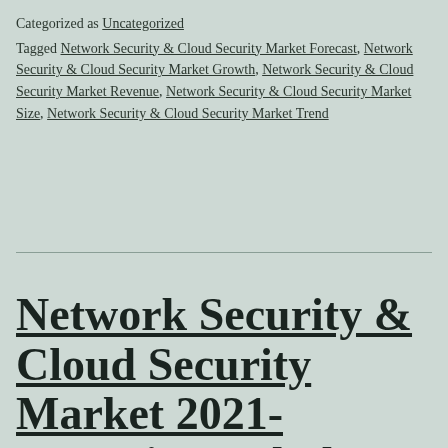Categorized as Uncategorized
Tagged Network Security & Cloud Security Market Forecast, Network Security & Cloud Security Market Growth, Network Security & Cloud Security Market Revenue, Network Security & Cloud Security Market Size, Network Security & Cloud Security Market Trend
Network Security & Cloud Security Market 2021-2030 Size and Shar...